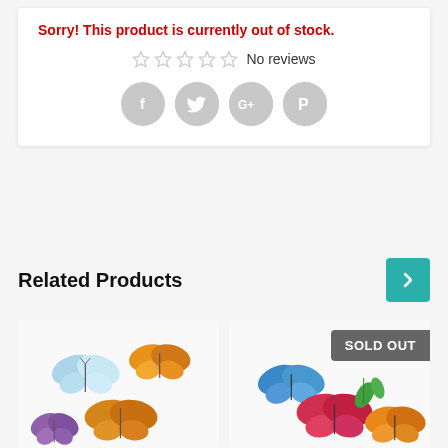Sorry! This product is currently out of stock.
☆☆☆☆☆ No reviews
[Figure (other): Social sharing buttons: Facebook, Twitter, Google+, Pinterest]
Notify Me When Available
Related Products
[Figure (photo): Product image showing colorful butterflies on white background]
[Figure (photo): Product image showing colorful butterflies with SOLD OUT badge]